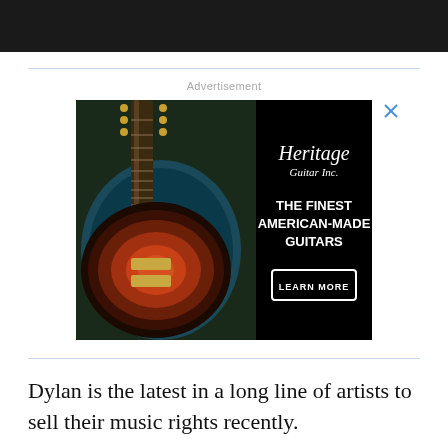[Figure (photo): Black and white photo strip at the top of the page, partially visible]
[Figure (infographic): Advertisement for Heritage Guitar Inc. showing a sunburst electric guitar in a case on the left, with text 'THE FINEST AMERICAN-MADE GUITARS' and 'LEARN MORE' button on black background on the right]
Dylan is the latest in a long line of artists to sell their music rights recently.